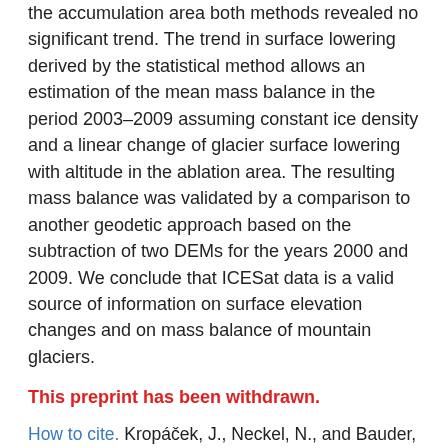the accumulation area both methods revealed no significant trend. The trend in surface lowering derived by the statistical method allows an estimation of the mean mass balance in the period 2003–2009 assuming constant ice density and a linear change of glacier surface lowering with altitude in the ablation area. The resulting mass balance was validated by a comparison to another geodetic approach based on the subtraction of two DEMs for the years 2000 and 2009. We conclude that ICESat data is a valid source of information on surface elevation changes and on mass balance of mountain glaciers.
This preprint has been withdrawn.
How to cite. Kropáček, J., Neckel, N., and Bauder, A.: Estimation of volume changes of mountain glaciers from ICESat data: an example from the Aletsch Glacier, Swiss Alps, The Cryosphere Discuss., 7, 3261–3291, https://doi.org/10.5194/tcd-7-3261-2013, 2013.